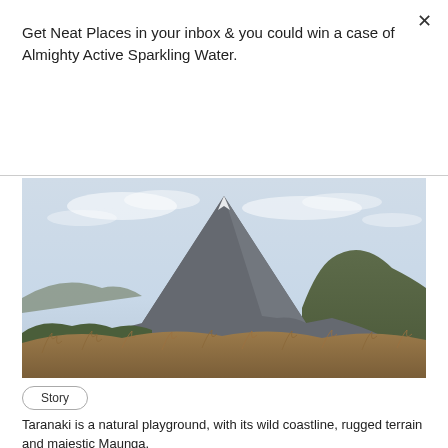Get Neat Places in your inbox & you could win a case of Almighty Active Sparkling Water.
Subscribe
[Figure (photo): Photograph of a volcanic mountain (Mount Taranaki/Egmont) rising above rugged terrain with dry brown tussock grass in the foreground and a cloudy sky backdrop.]
Story
Taranaki is a natural playground, with its wild coastline, rugged terrain and majestic Maunga.